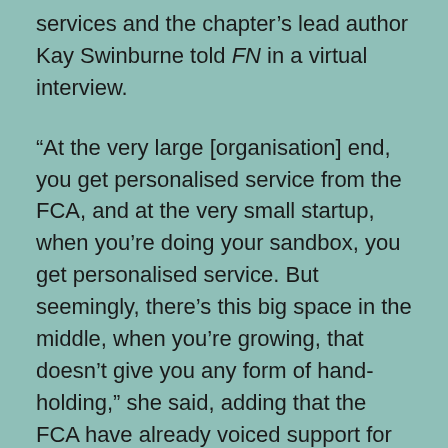services and the chapter's lead author Kay Swinburne told FN in a virtual interview.
“At the very large [organisation] end, you get personalised service from the FCA, and at the very small startup, when you’re doing your sandbox, you get personalised service. But seemingly, there’s this big space in the middle, when you’re growing, that doesn’t give you any form of hand-holding,” she said, adding that the FCA have already voiced support for the proposal.
Other recommendations included setting up a